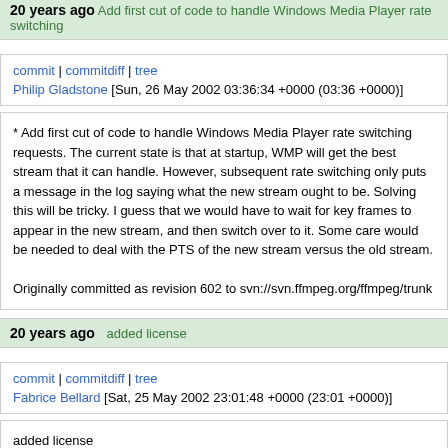20 years ago   Add first cut of code to handle Windows Media Player rate switching
commit | commitdiff | tree
Philip Gladstone [Sun, 26 May 2002 03:36:34 +0000 (03:36 +0000)]
* Add first cut of code to handle Windows Media Player rate switching requests. The current state is that at startup, WMP will get the best stream that it can handle. However, subsequent rate switching only puts a message in the log saying what the new stream ought to be. Solving this will be tricky. I guess that we would have to wait for key frames to appear in the new stream, and then switch over to it. Some care would be needed to deal with the PTS of the new stream versus the old stream.

Originally committed as revision 602 to svn://svn.ffmpeg.org/ffmpeg/trunk
20 years ago   added license
commit | commitdiff | tree
Fabrice Bellard [Sat, 25 May 2002 23:01:48 +0000 (23:01 +0000)]
added license